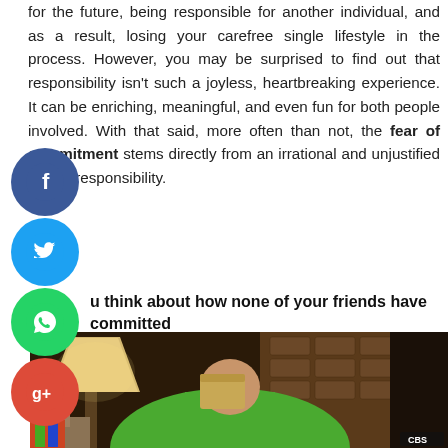for the future, being responsible for another individual, and as a result, losing your carefree single lifestyle in the process. However, you may be surprised to find out that responsibility isn't such a joyless, heartbreaking experience. It can be enriching, meaningful, and even fun for both people involved. With that said, more often than not, the fear of commitment stems directly from an irrational and unjustified fear of responsibility.
u think about how none of your friends have committed
[Figure (photo): A man in a green t-shirt breathing into a paper bag, sitting on a couch. A lamp and wooden cabinet are visible in the background. CBS logo visible in bottom right.]